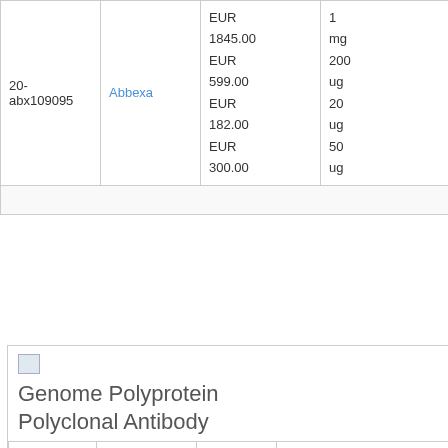| ID | Vendor | Price | Quantity |
| --- | --- | --- | --- |
| 20-abx109095 | Abbexa | EUR 1845.00
EUR 599.00
EUR 182.00
EUR 300.00 | 1 mg
200 ug
20 ug
50 ug |
Genome Polyprotein Polyclonal Antibody
| ID | Vendor | Quantity | Price |
| --- | --- | --- | --- |
| A56130 | EpiGentek | 100 µg | EUR 570.55 |